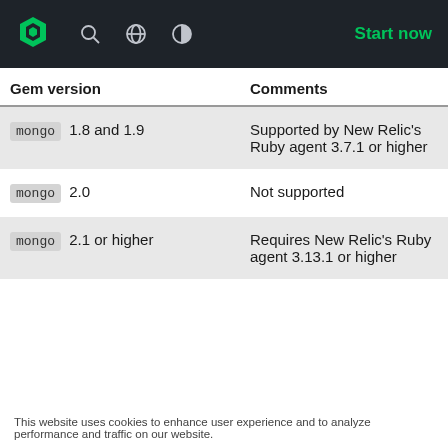New Relic Documentation – Start now
| Gem version | Comments |
| --- | --- |
| mongo 1.8 and 1.9 | Supported by New Relic's Ruby agent 3.7.1 or higher |
| mongo 2.0 | Not supported |
| mongo 2.1 or higher | Requires New Relic's Ruby agent 3.13.1 or higher |
This website uses cookies to enhance user experience and to analyze performance and traffic on our website.